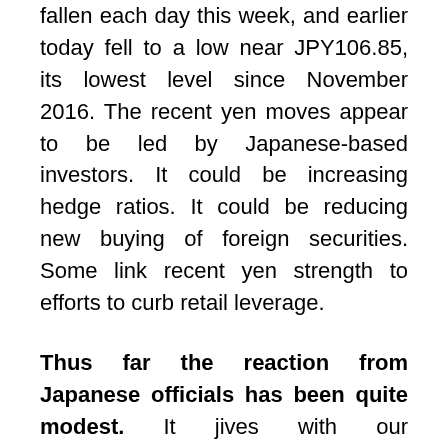fallen each day this week, and earlier today fell to a low near JPY106.85, its lowest level since November 2016. The recent yen moves appear to be led by Japanese-based investors. It could be increasing hedge ratios. It could be reducing new buying of foreign securities. Some link recent yen strength to efforts to curb retail leverage.
Thus far the reaction from Japanese officials has been quite modest. It jives with our understanding that at least some officials can accept a rise in the yen, provided it is gradual and part of a broader move in the foreign exchange market. The yen's strength is not simply against the dollar. It is appreciating on a trade-weighted basis. In fact, with today's